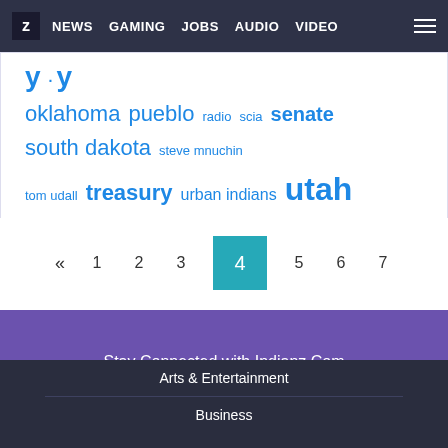Z NEWS GAMING JOBS AUDIO VIDEO
oklahoma pueblo radio scia senate south dakota steve mnuchin tom udall treasury urban indians utah white house youth
« 1 2 3 4 5 6 7
Stay Connected with Indianz.Com
Arts & Entertainment
Business